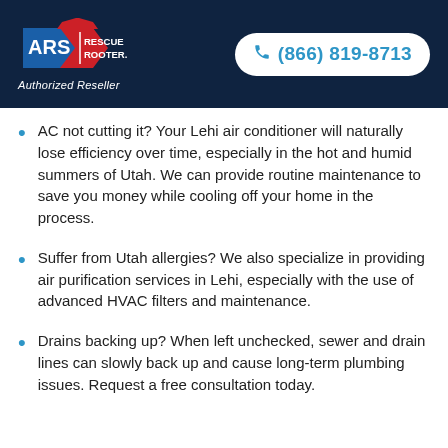[Figure (logo): ARS Rescue Rooter logo with Authorized Reseller text and phone number (866) 819-8713 on dark navy header]
AC not cutting it? Your Lehi air conditioner will naturally lose efficiency over time, especially in the hot and humid summers of Utah. We can provide routine maintenance to save you money while cooling off your home in the process.
Suffer from Utah allergies? We also specialize in providing air purification services in Lehi, especially with the use of advanced HVAC filters and maintenance.
Drains backing up? When left unchecked, sewer and drain lines can slowly back up and cause long-term plumbing issues. Request a free consultation today.